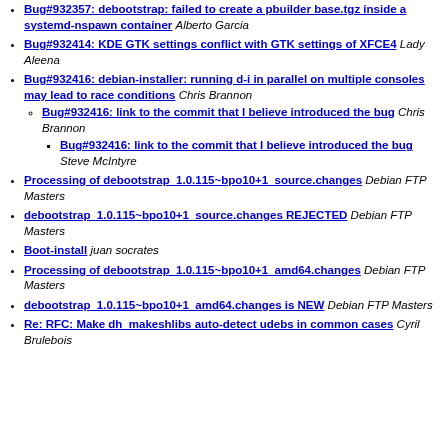Bug#932357: debootstrap: failed to create a pbuilder base.tgz inside a systemd-nspawn container Alberto Garcia
Bug#932414: KDE GTK settings conflict with GTK settings of XFCE4 Lady Aleena
Bug#932416: debian-installer: running d-i in parallel on multiple consoles may lead to race conditions Chris Brannon
Bug#932416: link to the commit that I believe introduced the bug Chris Brannon
Bug#932416: link to the commit that I believe introduced the bug Steve McIntyre
Processing of debootstrap_1.0.115~bpo10+1_source.changes Debian FTP Masters
debootstrap_1.0.115~bpo10+1_source.changes REJECTED Debian FTP Masters
Boot-install juan socrates
Processing of debootstrap_1.0.115~bpo10+1_amd64.changes Debian FTP Masters
debootstrap_1.0.115~bpo10+1_amd64.changes is NEW Debian FTP Masters
Re: RFC: Make dh_makeshlibs auto-detect udebs in common cases Cyril Brulebois